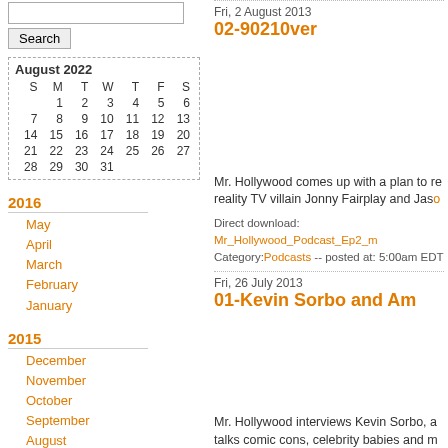[Search box]
Search
| S | M | T | W | T | F | S |
| --- | --- | --- | --- | --- | --- | --- |
|  | 1 | 2 | 3 | 4 | 5 | 6 |
| 7 | 8 | 9 | 10 | 11 | 12 | 13 |
| 14 | 15 | 16 | 17 | 18 | 19 | 20 |
| 21 | 22 | 23 | 24 | 25 | 26 | 27 |
| 28 | 29 | 30 | 31 |  |  |  |
2016
May
April
March
February
January
2015
December
November
October
September
August
July
June
May
Fri, 2 August 2013
02-90210ver
Mr. Hollywood comes up with a plan to re... reality TV villain Jonny Fairplay and Jaso...
Direct download: Mr_Hollywood_Podcast_Ep2_m... Category:Podcasts -- posted at: 5:00am EDT
Fri, 26 July 2013
01-Kevin Sorbo and Am...
Mr. Hollywood interviews Kevin Sorbo, a... talks comic cons, celebrity babies and m...
Direct download: Mr_Hollywood_podcast_episode... Category:Podcasts -- posted at: 5:00am EDT